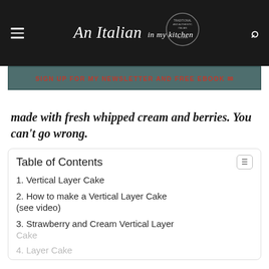An Italian in my kitchen
SIGN UP FOR MY NEWSLETTER AND FREE EBOOK
made with fresh whipped cream and berries. You can't go wrong.
Table of Contents
1. Vertical Layer Cake
2. How to make a Vertical Layer Cake (see video)
3. Strawberry and Cream Vertical Layer Cake
4. Layer Cake